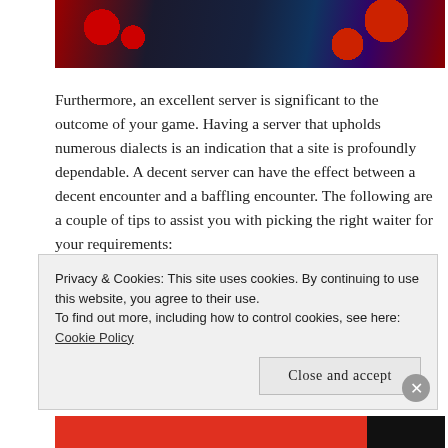[Figure (photo): Casino-themed image with red dice, playing cards, poker chips on a colorful background]
Furthermore, an excellent server is significant to the outcome of your game. Having a server that upholds numerous dialects is an indication that a site is profoundly dependable. A decent server can have the effect between a decent encounter and a baffling encounter. The following are a couple of tips to assist you with picking the right waiter for your requirements:
First and foremost, you'll need a server that upholds your country's neighborhood regulations. This is particularly significant in Asia, where most online gambling...
Privacy & Cookies: This site uses cookies. By continuing to use this website, you agree to their use.
To find out more, including how to control cookies, see here: Cookie Policy
Close and accept